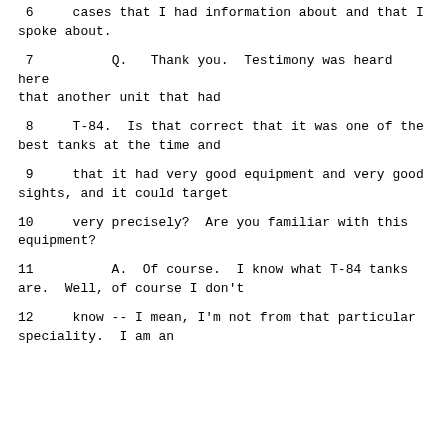6     cases that I had information about and that I spoke about.
7          Q.   Thank you.  Testimony was heard here that another unit that had
8     T-84.  Is that correct that it was one of the best tanks at the time and
9     that it had very good equipment and very good sights, and it could target
10     very precisely?  Are you familiar with this equipment?
11          A.  Of course.  I know what T-84 tanks are.  Well, of course I don't
12     know -- I mean, I'm not from that particular speciality.  I am an